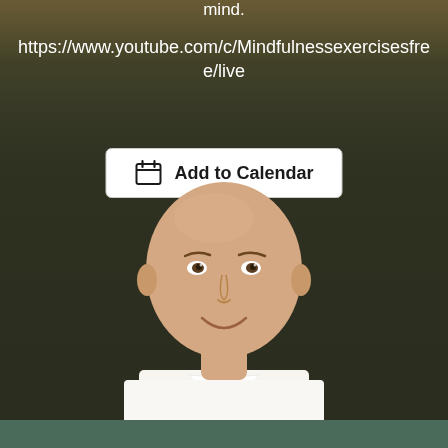mind.
https://www.youtube.com/c/Mindfulnessexercisesfree/live
[Figure (other): Add to Calendar button with calendar icon, white background with border]
[Figure (photo): Portrait photo of a bald man in white shirt smiling, against dark olive textured background]